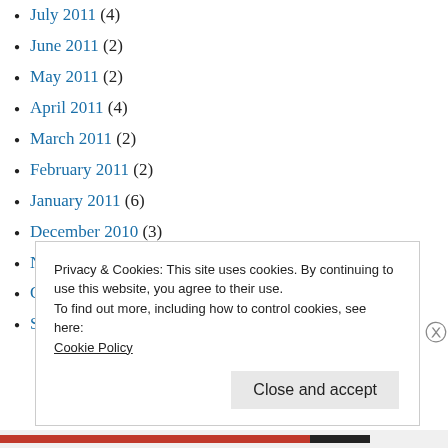July 2011 (4)
June 2011 (2)
May 2011 (2)
April 2011 (4)
March 2011 (2)
February 2011 (2)
January 2011 (6)
December 2010 (3)
November 2010 (10)
October 2010 (7)
September 2010 (8)
Privacy & Cookies: This site uses cookies. By continuing to use this website, you agree to their use.
To find out more, including how to control cookies, see here:
Cookie Policy
Close and accept